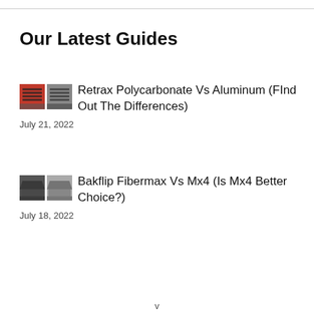Our Latest Guides
Retrax Polycarbonate Vs Aluminum (FInd Out The Differences)
July 21, 2022
Bakflip Fibermax Vs Mx4 (Is Mx4 Better Choice?)
July 18, 2022
v